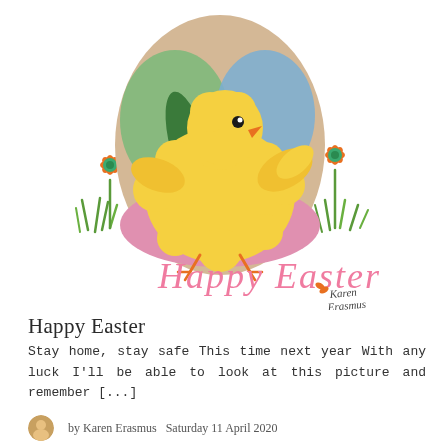[Figure (illustration): Easter illustration: a fluffy yellow chick sitting inside a decorated Easter egg with green and blue paint, pink broken eggshell at bottom, orange daisy flowers on either side, green grass, and 'Happy Easter' written in pink handwritten font below with 'Karen Erasmus' signature]
Happy Easter
Stay home, stay safe This time next year With any luck I'll be able to look at this picture and remember [...]
by Karen Erasmus   Saturday 11 April 2020